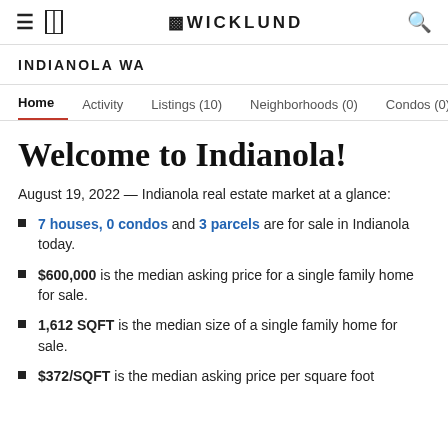NWICKLUND
INDIANOLA WA
Home  Activity  Listings (10)  Neighborhoods (0)  Condos (0)  New
Welcome to Indianola!
August 19, 2022 — Indianola real estate market at a glance:
7 houses, 0 condos and 3 parcels are for sale in Indianola today.
$600,000 is the median asking price for a single family home for sale.
1,612 SQFT is the median size of a single family home for sale.
$372/SQFT is the median asking price per square foot